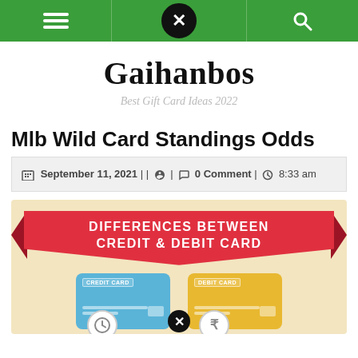Gaihanbos navigation bar
Gaihanbos
Best Gift Card Ideas 2022
Mlb Wild Card Standings Odds
September 11, 2021 || 🖉 | 💬 0 Comment | 🕐 8:33 am
[Figure (infographic): Infographic banner: DIFFERENCES BETWEEN CREDIT & DEBIT CARD. Shows a blue Credit Card and a yellow Debit Card with icons.]